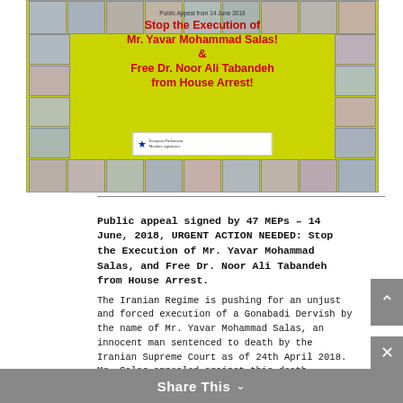[Figure (photo): Public appeal poster signed by 47 MEPs dated 14 June 2018, with text 'Stop the Execution of Mr. Yavar Mohammad Salas! & Free Dr. Noor Ali Tabandeh from House Arrest!' surrounded by a grid of MEP portrait photos on yellow-green background with EU Parliament logo.]
Public appeal signed by 47 MEPs – 14 June, 2018, URGENT ACTION NEEDED: Stop the Execution of Mr. Yavar Mohammad Salas, and Free Dr. Noor Ali Tabandeh from House Arrest.
The Iranian Regime is pushing for an unjust and forced execution of a Gonabadi Dervish by the name of Mr. Yavar Mohammad Salas, an innocent man sentenced to death by the Iranian Supreme Court as of 24th April 2018. Mr. Salas appealed against this death sentence, and his case was sent to the Supreme Court (Branch 35). On 13 June, 2018, the Supreme Court